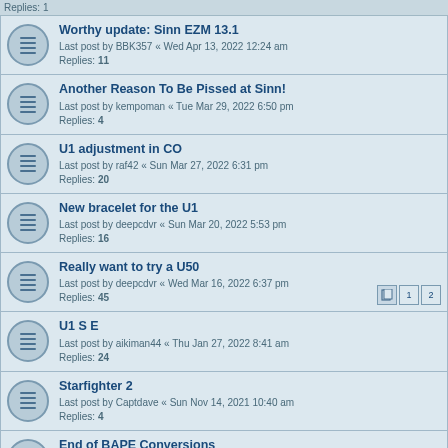Worthy update: Sinn EZM 13.1 — Last post by BBK357 « Wed Apr 13, 2022 12:24 am — Replies: 11
Another Reason To Be Pissed at Sinn! — Last post by kempoman « Tue Mar 29, 2022 6:50 pm — Replies: 4
U1 adjustment in CO — Last post by raf42 « Sun Mar 27, 2022 6:31 pm — Replies: 20
New bracelet for the U1 — Last post by deepcdvr « Sun Mar 20, 2022 5:53 pm — Replies: 16
Really want to try a U50 — Last post by deepcdvr « Wed Mar 16, 2022 6:37 pm — Replies: 45 — Pages: 1, 2
U1 S E — Last post by aikiman44 « Thu Jan 27, 2022 8:41 am — Replies: 24
Starfighter 2 — Last post by Captdave « Sun Nov 14, 2021 10:40 am — Replies: 4
End of BAPE Conversions — Last post by River Rat « Wed Nov 03, 2021 10:00 am — Replies: 13
Just what I've been waiting for!: Sinn 1800 S GG Damaszener LE — Last post by JBZ « Wed Oct 27, 2021 3:11 pm — Replies: 26 — Pages: 1, 2